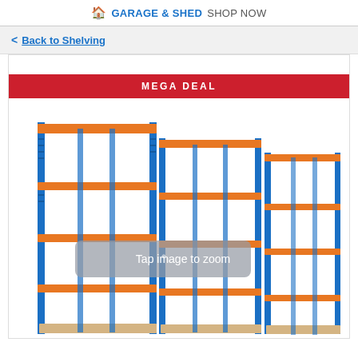🏠 GARAGE & SHED SHOP NOW
< Back to Shelving
[Figure (photo): Orange and blue heavy-duty metal shelving units (boltless racking) arranged in a group of three, with MDF shelf boards, showing multiple tiers. A 'MEGA DEAL' red banner overlays the top of the product card. A 'Tap image to zoom' overlay appears in the center of the image.]